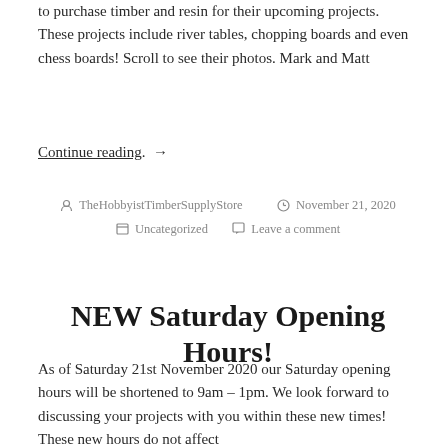to purchase timber and resin for their upcoming projects. These projects include river tables, chopping boards and even chess boards! Scroll to see their photos. Mark and Matt
Continue reading. →
by TheHobbyistTimberSupplyStore   November 21, 2020   Uncategorized   Leave a comment
NEW Saturday Opening Hours!
As of Saturday 21st November 2020 our Saturday opening hours will be shortened to 9am – 1pm. We look forward to discussing your projects with you within these new times! These new hours do not affect